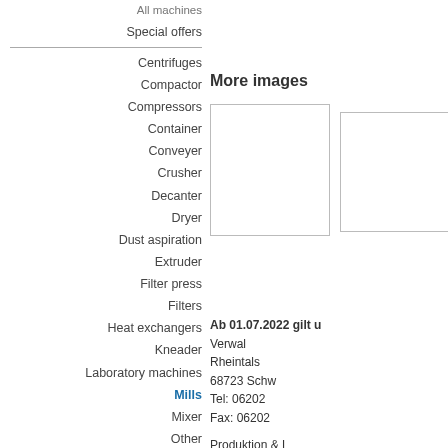All machines
Special offers
Centrifuges
Compactor
Compressors
Container
Conveyer
Crusher
Decanter
Dryer
Dust aspiration
Extruder
Filter press
Filters
Heat exchangers
Kneader
Laboratory machines
Mills
Mixer
Other
Pumps
Reactors
Screening machines
Stir container
Vacuum paddle dryer
NEW MACHINES
More images
[Figure (photo): Image placeholder box 1]
[Figure (photo): Image placeholder box 2]
Ab 01.07.2022 gilt u... Verwal... Rheintals... 68723 Schw... Tel: 06202 ... Fax: 06202 ... Produktion & L... Düsseldorfer... 68219 Mannhe...